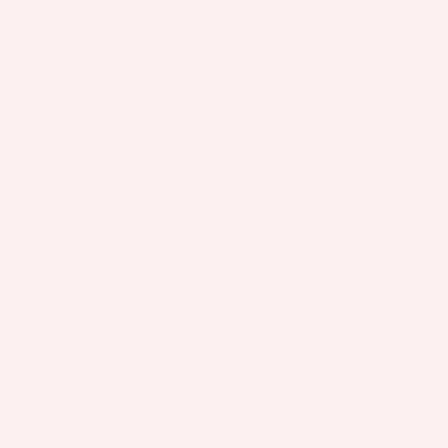my free tim

The all said I'M BA And I'm loo forw to pos late tod abo the exq din I ma